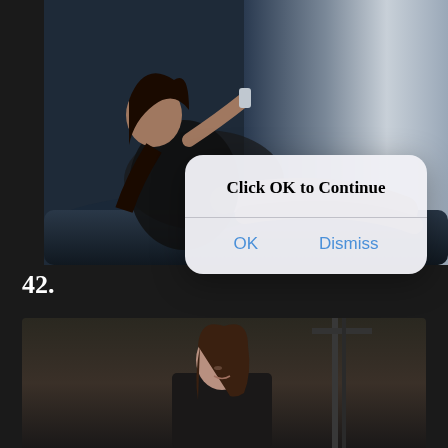[Figure (photo): A woman in a black dress reclining on a dark sofa, holding an object, with a blue-toned background]
[Figure (screenshot): iOS-style modal dialog with text 'Click OK to Continue' and two buttons: OK and Dismiss]
42.
[Figure (photo): A woman with short brown hair in a dark setting, partially visible from the waist up]